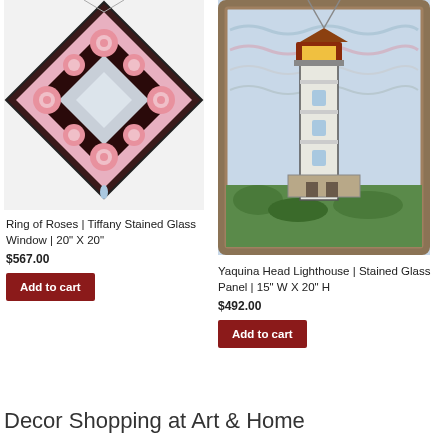[Figure (photo): Stained glass window with ring of roses pattern, diamond shaped, pink roses with silver center, hanging by chains]
Ring of Roses | Tiffany Stained Glass Window | 20" X 20"
$567.00
Add to cart
[Figure (photo): Stained glass panel depicting Yaquina Head Lighthouse with sky and green landscape, framed with rope border]
Yaquina Head Lighthouse | Stained Glass Panel | 15" W X 20" H
$492.00
Add to cart
Decor Shopping at Art & Home